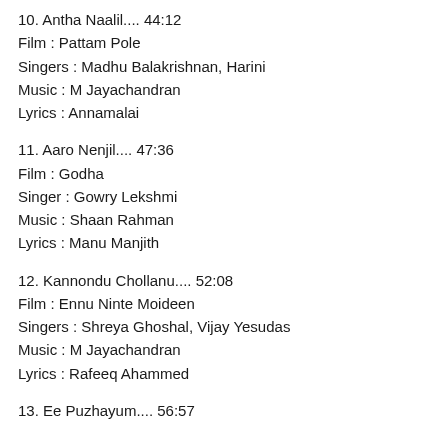10. Antha Naalil.... 44:12
Film : Pattam Pole
Singers : Madhu Balakrishnan, Harini
Music : M Jayachandran
Lyrics : Annamalai
11. Aaro Nenjil.... 47:36
Film : Godha
Singer : Gowry Lekshmi
Music : Shaan Rahman
Lyrics : Manu Manjith
12. Kannondu Chollanu.... 52:08
Film : Ennu Ninte Moideen
Singers : Shreya Ghoshal, Vijay Yesudas
Music : M Jayachandran
Lyrics : Rafeeq Ahammed
13. Ee Puzhayum.... 56:57